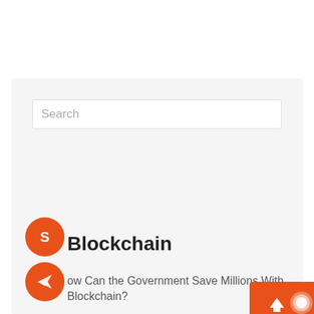[Figure (screenshot): Search input box with placeholder text 'Search']
[Figure (illustration): Orange circular Skype-style icon button]
Blockchain
[Figure (illustration): Orange circular send/paper-plane icon button]
How Can the Government Save Millions With Blockchain?
[Figure (illustration): Orange block in bottom right corner with up-arrow and chat bubble icons]